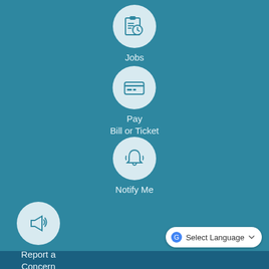[Figure (infographic): Government website navigation menu on teal background with four circular icon buttons arranged vertically: Jobs (clipboard with clock icon), Pay Bill or Ticket (credit card icon), Notify Me (bell icon), Report a Concern (megaphone icon). Each button has a light blue circle with a teal icon and white label text below. A 'Select Language' dropdown widget appears in the bottom right corner.]
Jobs
Pay
Bill or Ticket
Notify Me
Report a
Concern